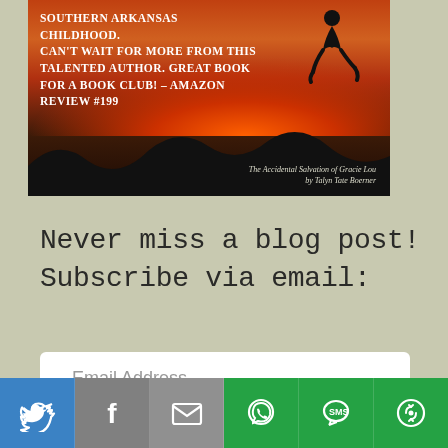[Figure (photo): Book promotional banner image with dark background showing sunset/dusk sky with orange-red glow, silhouetted hills, and a jumping figure. White small-caps text reads: 'southern Arkansas childhood. Can't wait for more from this talented author. Great book for a book club! – Amazon Review #199'. Bottom right credits: 'The Accidental Salvation of Gracie Lou by Talyn Tate Boerner']
Never miss a blog post! Subscribe via email:
Email Address
SUBSCRIBE
[Figure (infographic): Social sharing bar with six colored buttons: Twitter (blue bird icon), Facebook (gray f icon), Email (gray envelope icon), WhatsApp (green phone icon), SMS (green SMS icon), More (green circular arrows icon)]